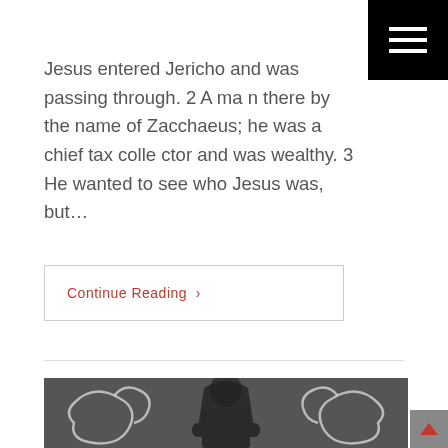Jesus entered Jericho and was passing through. 2 A man there by the name of Zacchaeus; he was a chief tax collector and was wealthy. 3 He wanted to see who Jesus was, but…
Continue Reading ›
[Figure (photo): A bearded man in a dark hoodie with arms crossed, standing in front of a chalkboard that has chalk drawings of flexing muscular arms on both sides of him.]